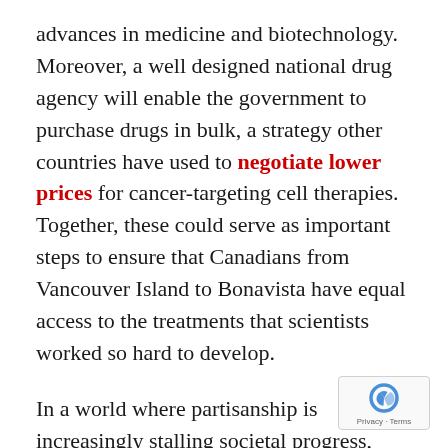advances in medicine and biotechnology. Moreover, a well designed national drug agency will enable the government to purchase drugs in bulk, a strategy other countries have used to negotiate lower prices for cancer-targeting cell therapies. Together, these could serve as important steps to ensure that Canadians from Vancouver Island to Bonavista have equal access to the treatments that scientists worked so hard to develop.
In a world where partisanship is increasingly stalling societal progress, implementations like these show that that change may still be possible. This facet of the 2019 federal budget is perhaps as directly related to research as academic funding; however, the impact on Canadian